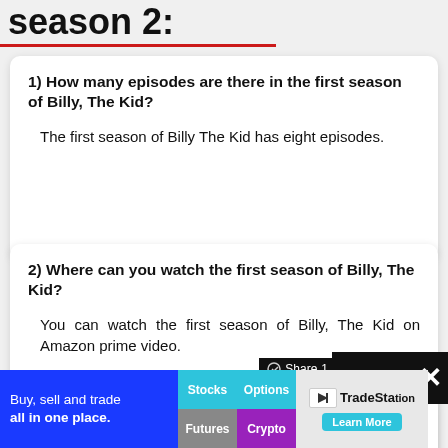season 2:
1) How many episodes are there in the first season of Billy, The Kid?
The first season of Billy The Kid has eight episodes.
2) Where can you watch the first season of Billy, The Kid?
You can watch the first season of Billy, The Kid on Amazon prime video.
3) What are the ratings of Billy, The Kid season
[Figure (screenshot): Advertisement banner for TradeStation: 'Buy, sell and trade all in one place.' with buttons for Stocks, Options, Futures, Crypto and TradeStation logo with Learn More button.]